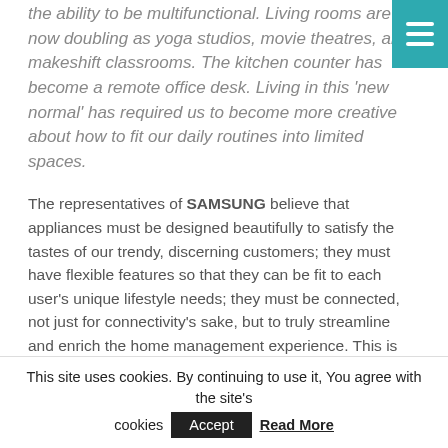the ability to be multifunctional. Living rooms are now doubling as yoga studios, movie theatres, and makeshift classrooms. The kitchen counter has become a remote office desk. Living in this 'new normal' has required us to become more creative about how to fit our daily routines into limited spaces.
The representatives of SAMSUNG believe that appliances must be designed beautifully to satisfy the tastes of our trendy, discerning customers; they must have flexible features so that they can be fit to each user's unique lifestyle needs; they must be connected, not just for connectivity's sake, but to truly streamline and enrich the home management experience. This is their vision for appliances in the Bespoke Home.
This site uses cookies. By continuing to use it, You agree with the site's cookies Accept Read More